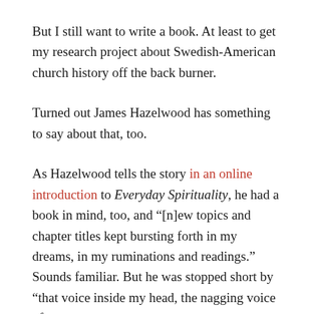But I still want to write a book. At least to get my research project about Swedish-American church history off the back burner.
Turned out James Hazelwood has something to say about that, too.
As Hazelwood tells the story in an online introduction to Everyday Spirituality, he had a book in mind, too, and “[n]ew topics and chapter titles kept bursting forth in my dreams, in my ruminations and readings.” Sounds familiar. But he was stopped short by “that voice inside my head, the nagging voice of